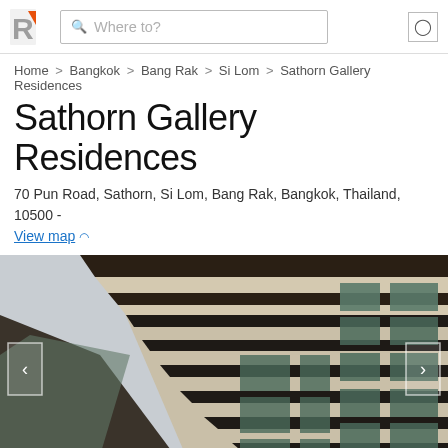Roomkey logo | Where to? search bar
Home > Bangkok > Bang Rak > Si Lom > Sathorn Gallery Residences
Sathorn Gallery Residences
70 Pun Road, Sathorn, Si Lom, Bang Rak, Bangkok, Thailand, 10500 -
View map
[Figure (photo): Upward-angle exterior photo of Sathorn Gallery Residences building showing beige/tan facade with horizontal striped balconies and dark-framed windows against a light sky]